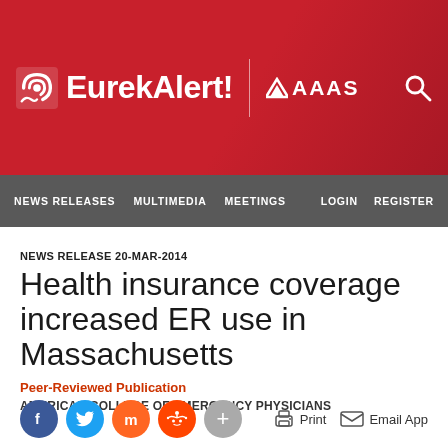EurekAlert! AAAS
NEWS RELEASES  MULTIMEDIA  MEETINGS  LOGIN  REGISTER
NEWS RELEASE 20-MAR-2014
Health insurance coverage increased ER use in Massachusetts
Peer-Reviewed Publication
AMERICAN COLLEGE OF EMERGENCY PHYSICIANS